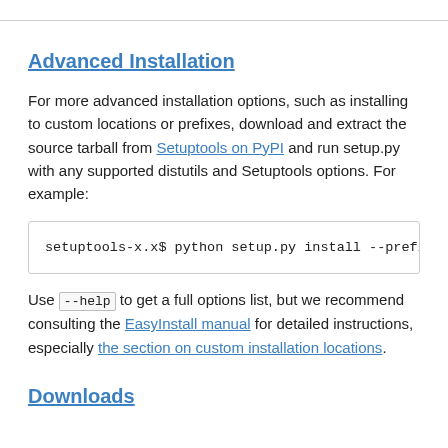Advanced Installation
For more advanced installation options, such as installing to custom locations or prefixes, download and extract the source tarball from Setuptools on PyPI and run setup.py with any supported distutils and Setuptools options. For example:
setuptools-x.x$ python setup.py install --prefix=/
Use --help to get a full options list, but we recommend consulting the EasyInstall manual for detailed instructions, especially the section on custom installation locations.
Downloads